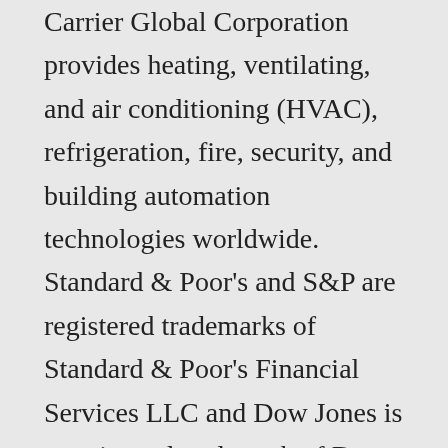Carrier Global Corporation provides heating, ventilating, and air conditioning (HVAC), refrigeration, fire, security, and building automation technologies worldwide. Standard & Poor's and S&P are registered trademarks of Standard & Poor's Financial Services LLC and Dow Jones is a registered trademark of Dow Jones Trademark Holdings LLC. Is Carr's Group plc (CARR.L) a buy right now? View the latest news, buy/sell ratings, SEC filings and insider transactions for your stocks. ELECTRIC CAR OTC Stock Forecast is based on your current time horizon. Disclaimer. CARR Stock Analysis Overview . View today's stock price, news and analysis for Carrier Global Corp. (CARR). Showing 1-100 of 21,027 items. Tesla CEO Elon